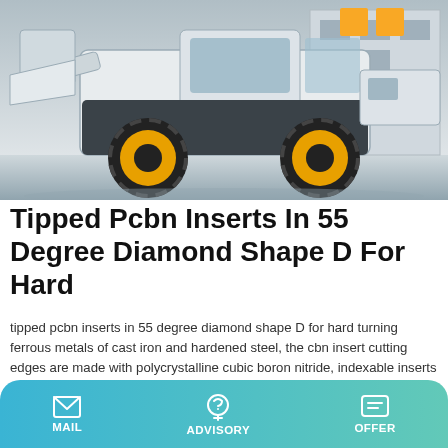[Figure (photo): A white compact wheel loader / construction machine photographed outdoors, showing large yellow-rimmed black tires, a white cab, and industrial background.]
Tipped Pcbn Inserts In 55 Degree Diamond Shape D For Hard
tipped pcbn inserts in 55 degree diamond shape D for hard turning ferrous metals of cast iron and hardened steel, the cbn insert cutting edges are made with polycrystalline cubic boron nitride, indexable inserts with cbn tips are precision cutting tools, which are used in cnc fine finish machining and turning roller, bearing, pumps, automobile brake disk, aircraft jet engine.
Learn More
MAIL  ADVISORY  OFFER